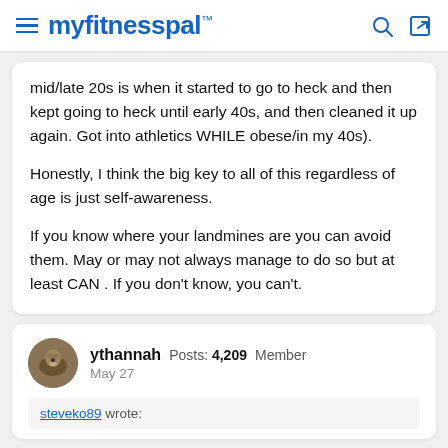myfitnesspal
mid/late 20s is when it started to go to heck and then kept going to heck until early 40s, and then cleaned it up again. Got into athletics WHILE obese/in my 40s).

Honestly, I think the big key to all of this regardless of age is just self-awareness.

If you know where your landmines are you can avoid them. May or may not always manage to do so but at least CAN . If you don't know, you can't.
ythannah  Posts: 4,209  Member
May 27